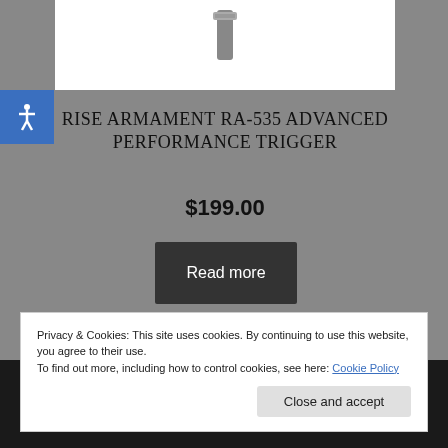[Figure (photo): Product image of Rise Armament RA-535 Advanced Performance Trigger shown partially against white background]
RISE ARMAMENT RA-535 ADVANCED PERFORMANCE TRIGGER
$199.00
Read more
Privacy & Cookies: This site uses cookies. By continuing to use this website, you agree to their use.
To find out more, including how to control cookies, see here: Cookie Policy
Close and accept